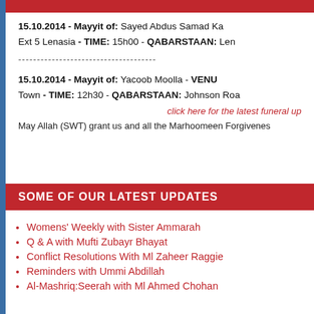15.10.2014 - Mayyit of: Sayed Abdus Samad Ka... Ext 5 Lenasia - TIME: 15h00 - QABARSTAAN: Len...
----------------------------------------
15.10.2014 - Mayyit of: Yacoob Moolla - VENU... Town - TIME: 12h30 - QABARSTAAN: Johnson Roa...
click here for the latest funeral up...
May Allah (SWT) grant us and all the Marhoomeen Forgivenes...
SOME OF OUR LATEST UPDATES
Womens' Weekly with Sister Ammarah
Q & A with Mufti Zubayr Bhayat
Conflict Resolutions With Ml Zaheer Raggie
Reminders with Ummi Abdillah
Al-Mashriq:Seerah with Ml Ahmed Chohan